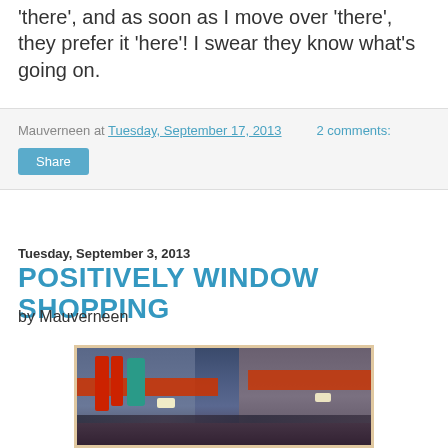'there', and as soon as I move over 'there', they prefer it 'here'!  I swear they know what's going on.
Mauverneen at Tuesday, September 17, 2013   2 comments:
Share
Tuesday, September 3, 2013
POSITIVELY WINDOW SHOPPING
by Mauverneen
[Figure (photo): Street scene at night with colorful signs, red awnings, neon lights, and crowds of people on a busy street, likely Paris or similar European city.]